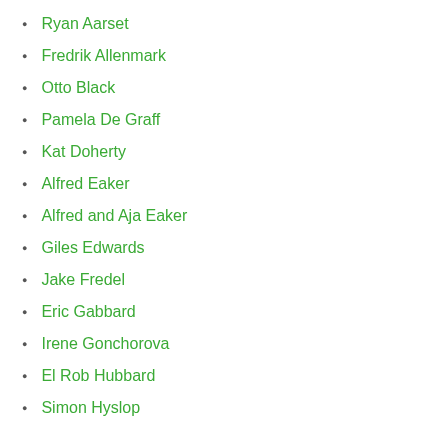Ryan Aarset
Fredrik Allenmark
Otto Black
Pamela De Graff
Kat Doherty
Alfred Eaker
Alfred and Aja Eaker
Giles Edwards
Jake Fredel
Eric Gabbard
Irene Gonchorova
El Rob Hubbard
Simon Hyslop